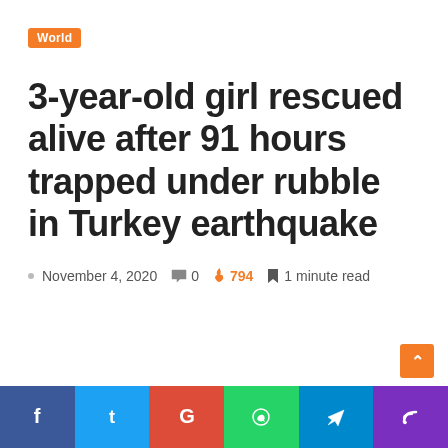World
3-year-old girl rescued alive after 91 hours trapped under rubble in Turkey earthquake
November 4, 2020  0  794  1 minute read